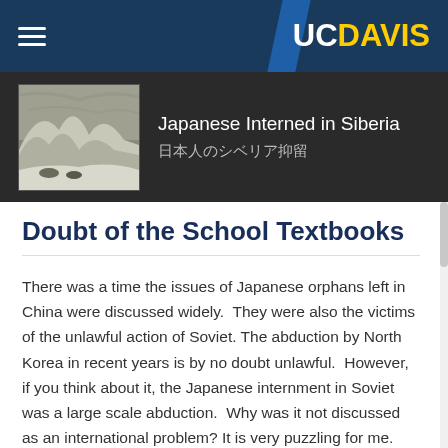UCDAVIS
[Figure (screenshot): UC Davis website banner showing Japanese internment artwork with text 'Japanese Interned in Siberia / 日本人のシベリア抑留']
Doubt of the School Textbooks
There was a time the issues of Japanese orphans left in China were discussed widely.  They were also the victims of the unlawful action of Soviet. The abduction by North Korea in recent years is by no doubt unlawful.  However, if you think about it, the Japanese internment in Soviet was a large scale abduction.  Why was it not discussed as an international problem? It is very puzzling for me. Why did